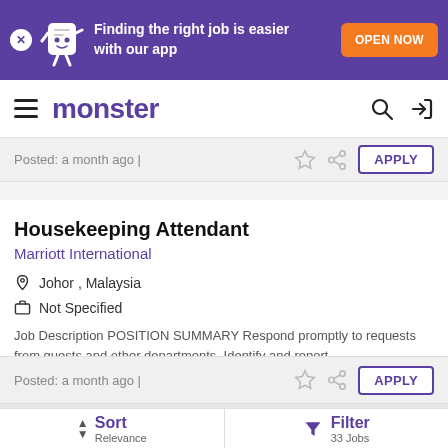[Figure (screenshot): Monster job board app banner with purple background, mascot icon, text 'Finding the right job is easier with our app', and orange 'OPEN NOW' button]
monster
Posted: a month ago |
Housekeeping Attendant
Marriott International
Johor , Malaysia
Not Specified
Job Description POSITION SUMMARY Respond promptly to requests from guests and other departments. Identify and report ...
Posted: a month ago |
Sort Relevance
Filter 33 Jobs